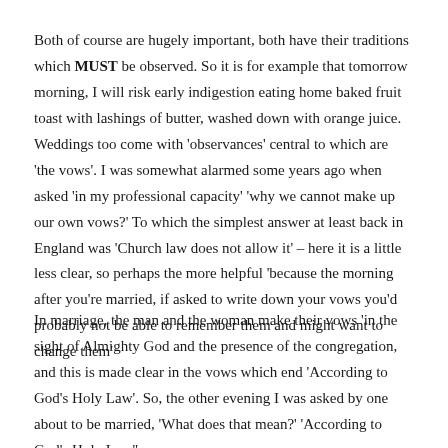Both of course are hugely important, both have their traditions which MUST be observed. So it is for example that tomorrow morning, I will risk early indigestion eating home baked fruit toast with lashings of butter, washed down with orange juice. Weddings too come with 'observances' central to which are 'the vows'. I was somewhat alarmed some years ago when asked 'in my professional capacity' 'why we cannot make up our own vows?' To which the simplest answer at least back in England was 'Church law does not allow it' – here it is a little less clear, so perhaps the more helpful 'because the morning after you're married, if asked to write down your vows you'd probably not be able to remember them and might want to change them'
In marriage, the man and the woman make their vows 'in the sight of Almighty God and the presence of the congregation, and this is made clear in the vows which end 'According to God's Holy Law'. So, the other evening I was asked by one about to be married, 'What does that mean?' 'According to God's Holy Law'